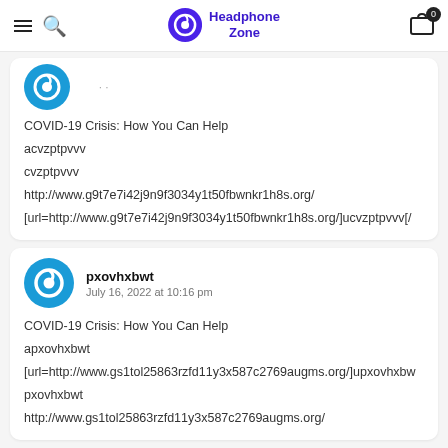Headphone Zone
COVID-19 Crisis: How You Can Help
acvzptpvvv
cvzptpvvv
http://www.g9t7e7i42j9n9f3034y1t50fbwnkr1h8s.org/
[url=http://www.g9t7e7i42j9n9f3034y1t50fbwnkr1h8s.org/]ucvzptpvvv[/
pxovhxbwt
July 16, 2022 at 10:16 pm

COVID-19 Crisis: How You Can Help
apxovhxbwt
[url=http://www.gs1tol25863rzfd11y3x587c2769augms.org/]upxovhxbw
pxovhxbwt
http://www.gs1tol25863rzfd11y3x587c2769augms.org/